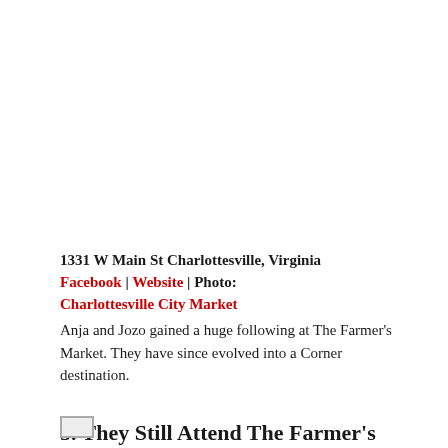1331 W Main St Charlottesville, Virginia Facebook | Website | Photo: Charlottesville City Market Anja and Jozo gained a huge following at The Farmer's Market. They have since evolved into a Corner destination.
5. They Still Attend The Farmer's Market